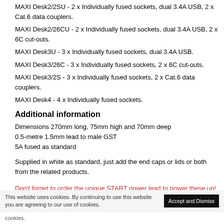MAXI Desk2/2SU  -  2 x Individually fused sockets, dual 3.4A USB, 2 x Cat.6 data couplers.
MAXI Desk2/26CU  -  2 x Individually fused sockets, dual 3.4A USB, 2 x 6C cut-outs.
MAXI Desk3U  -  3 x Individually fused sockets, dual 3.4A USB.
MAXI Desk3/26C  -  3 x Individually fused sockets, 2 x 6C cut-outs.
MAXI Desk3/2S  -  3 x Individually fused sockets, 2 x Cat.6 data couplers.
MAXI Desk4  -  4 x Individually fused sockets.
Additional information
Dimensions 270mm long, 75mm high and 70mm deep
0.5-metre 1.5mm lead to male GST
5A fused as standard
Supplied in white as standard, just add the end caps or lids or both from the related products.
Don't forget to order the unique START power lead to power these up!
This website uses cookies. By continuing to use this website you are agreeing to our use of cookies.